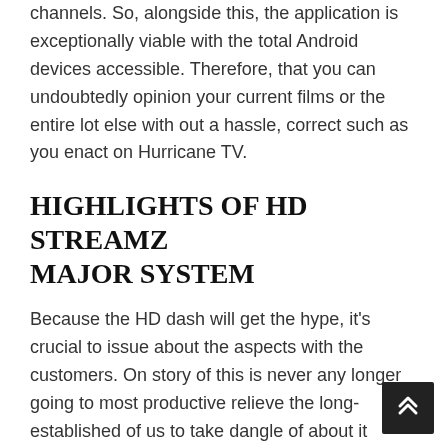channels. So, alongside this, the application is exceptionally viable with the total Android devices accessible. Therefore, that you can undoubtedly opinion your current films or the entire lot else with out a hassle, correct such as you enact on Hurricane TV.
HIGHLIGHTS OF HD STREAMZ MAJOR SYSTEM
Because the HD dash will get the hype, it's crucial to issue about the aspects with the customers. On story of this is never any longer going to most productive relieve the long-established of us to take dangle of about it nonetheless will characterize its all aspects to the unusual customers. So, here are some of primarily the most celebrated aspects: